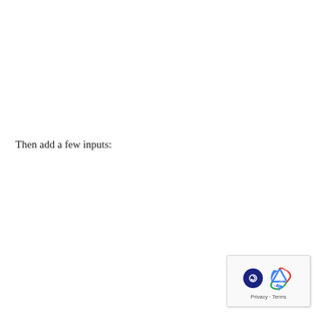Then add a few inputs:
[Figure (other): Google reCAPTCHA widget in the bottom-right corner showing the reCAPTCHA logo with a blue circular arrow icon and a dark circle with a person icon, with 'Privacy - Terms' text at the bottom]